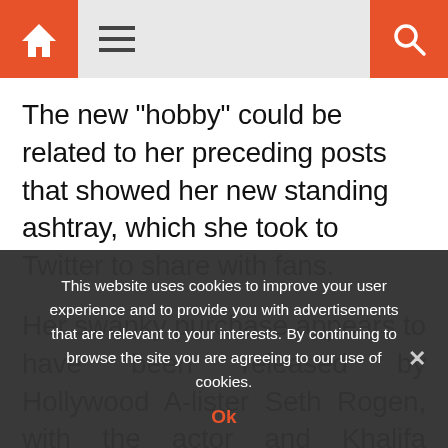Navigation bar with home icon, menu icon, and search icon
The new "hobby" could be related to her preceding posts that showed her new standing ashtray, which she took to Twitter to share with fans.
Her swanky purchase appears to have been released by Hollywood A-lister Seth Rogen, with the actor and Khalifa sharing an hilarious encounter with one another on the social media
This website uses cookies to improve your user experience and to provide you with advertisements that are relevant to your interests. By continuing to browse the site you are agreeing to our use of cookies.
Ok